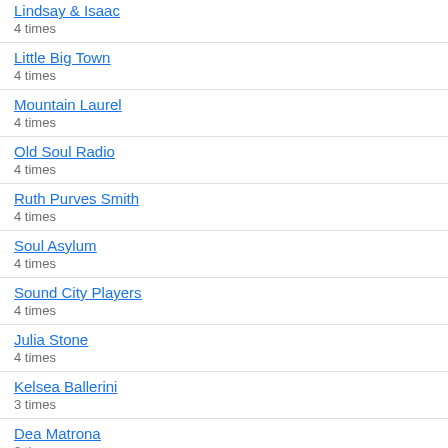Lindsay & Isaac
4 times
Little Big Town
4 times
Mountain Laurel
4 times
Old Soul Radio
4 times
Ruth Purves Smith
4 times
Soul Asylum
4 times
Sound City Players
4 times
Julia Stone
4 times
Kelsea Ballerini
3 times
Dea Matrona
3 times